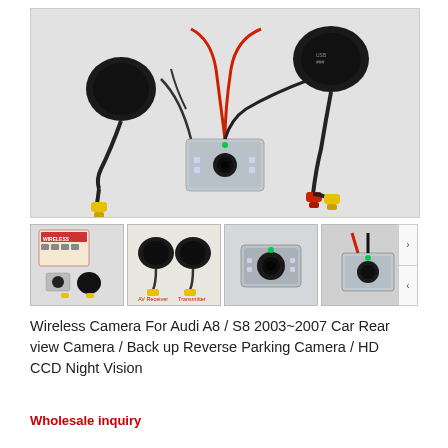[Figure (photo): Main product photo showing wireless camera kit for Audi A8/S8 with cables, connectors and camera unit on white background]
[Figure (photo): Thumbnail 1: product box and components]
[Figure (photo): Thumbnail 2: two wireless transmitter/receiver units with cables]
[Figure (photo): Thumbnail 3: close-up of camera unit]
[Figure (photo): Thumbnail 4: camera unit with wires]
Wireless Camera For Audi A8 / S8 2003~2007 Car Rear view Camera / Back up Reverse Parking Camera / HD CCD Night Vision
Wholesale inquiry